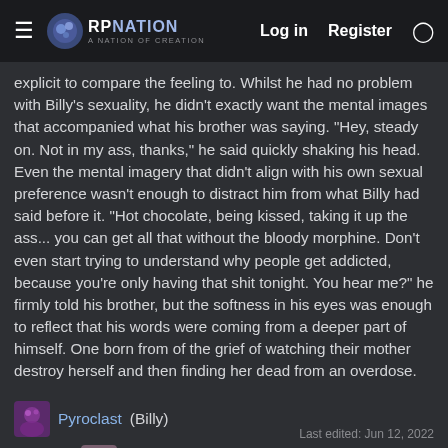RPNation — Log in  Register
explicit to compare the feeling to. Whilst he had no problem with Billy's sexuality, he didn't exactly want the mental images that accompanied what his brother was saying. "Hey, steady on. Not in my ass, thanks," he said quickly shaking his head. Even the mental imagery that didn't align with his own sexual preference wasn't enough to distract him from what Billy had said before it. "Hot chocolate, being kissed, taking it up the ass... you can get all that without the bloody morphine. Don't even start trying to understand why people get addicted, because you're only having that shit tonight. You hear me?" he firmly told his brother, but the softness in his eyes was enough to reflect that his words were coming from a deeper part of himself. One born from of the grief of watching their mother destroy herself and then finding her dead from an overdose.
Pyroclast (Billy)
Mention: BasDorcha (Jeremy)
Last edited: Jun 12, 2022